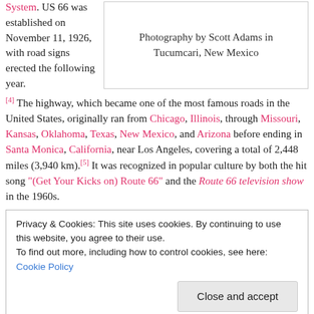System. US 66 was established on November 11, 1926, with road signs erected the following year.[4] The highway, which became one of the most famous roads in the United States, originally ran from Chicago, Illinois, through Missouri, Kansas, Oklahoma, Texas, New Mexico, and Arizona before ending in Santa Monica, California, near Los Angeles, covering a total of 2,448 miles (3,940 km).[5] It was recognized in popular culture by both the hit song "(Get Your Kicks on) Route 66" and the Route 66 television show in the 1960s.
[Figure (photo): Photography by Scott Adams in Tucumcari, New Mexico]
Privacy & Cookies: This site uses cookies. By continuing to use this website, you agree to their use.
To find out more, including how to control cookies, see here:
Cookie Policy
Close and accept
People also fought to keep the highway alive in the face of the growing threat of being bypassed by the